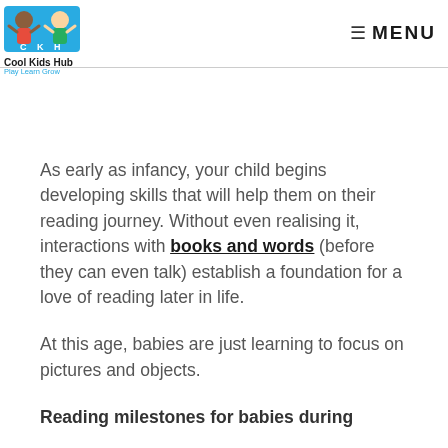[Figure (logo): Cool Kids Hub logo with two cartoon children and text 'Cool Kids Hub / Play Learn Grow']
≡ MENU
As early as infancy, your child begins developing skills that will help them on their reading journey. Without even realising it, interactions with books and words (before they can even talk) establish a foundation for a love of reading later in life.
At this age, babies are just learning to focus on pictures and objects.
Reading milestones for babies during